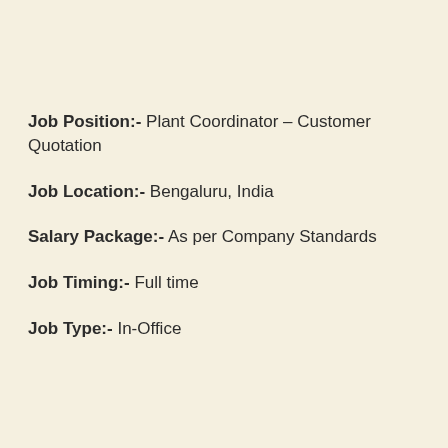Job Position:- Plant Coordinator – Customer Quotation
Job Location:- Bengaluru, India
Salary Package:- As per Company Standards
Job Timing:- Full time
Job Type:- In-Office